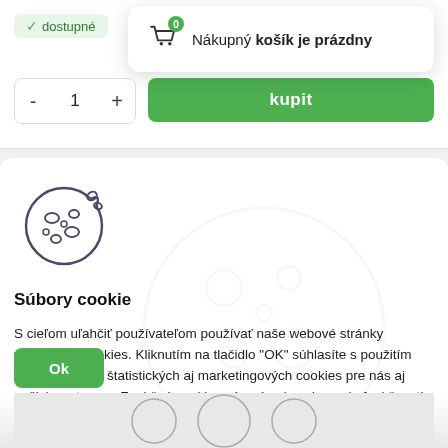✓ dostupné
Nákupný košík je prázdny
- 1 +
kupit
[Figure (illustration): Cookie icon — illustrated chocolate chip cookie with circular outline]
Súbory cookie
S cieľom uľahčiť používateľom používať naše webové stránky využívame cookies. Kliknutím na tlačidlo "OK" súhlasíte s použitím preferenčných, štatistických aj marketingových cookies pre nás aj našich partnerov. Funkčné cookies sú v rámci zachovania funkčnosti webu používané počas celej doby prehliadania webom. Podrobné informácie a nastavenia ku cookies nájdete tu.
Ok